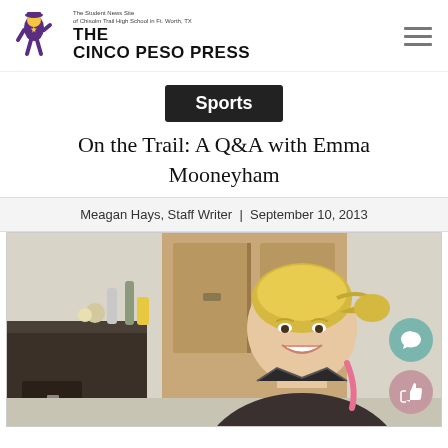THE CINCO PESO PRESS - The Student News Site of Chisolm Trail High School in Ft. Worth, TX
Sports
On the Trail: A Q&A with Emma Mooneyham
Meagan Hays, Staff Writer | September 10, 2013
[Figure (photo): Photo of Emma Mooneyham, a young woman with blonde hair in a braid, smiling, seated in a classroom setting with a wooden cabinet in the background]